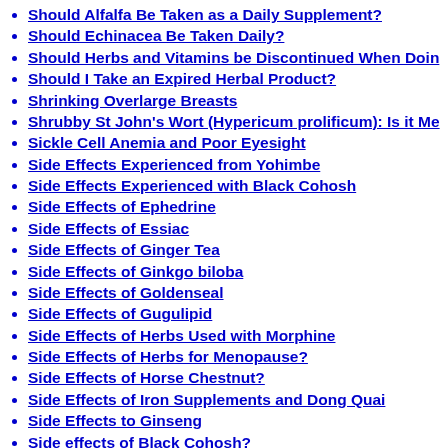Should Alfalfa Be Taken as a Daily Supplement?
Should Echinacea Be Taken Daily?
Should Herbs and Vitamins be Discontinued When Doin...
Should I Take an Expired Herbal Product?
Shrinking Overlarge Breasts
Shrubby St John's Wort (Hypericum prolificum): Is it Me...
Sickle Cell Anemia and Poor Eyesight
Side Effects Experienced from Yohimbe
Side Effects Experienced with Black Cohosh
Side Effects of Ephedrine
Side Effects of Essiac
Side Effects of Ginger Tea
Side Effects of Ginkgo biloba
Side Effects of Goldenseal
Side Effects of Gugulipid
Side Effects of Herbs Used with Morphine
Side Effects of Herbs for Menopause?
Side Effects of Horse Chestnut?
Side Effects of Iron Supplements and Dong Quai
Side Effects to Ginseng
Side effects of Black Cohosh?
Sinus Problems
Sinus Problems
Sjogren's Syndrome
Sjogren's Syndrome
Skin Bumps and Rash